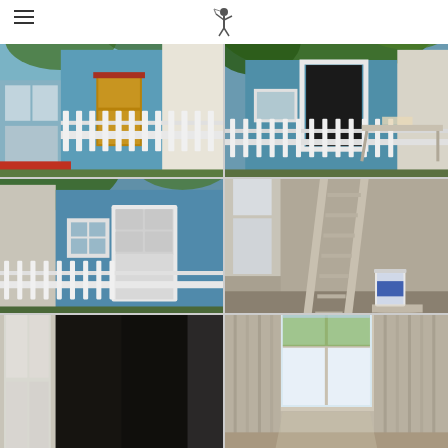Navigation header with hamburger menu and logo
[Figure (photo): Blue house exterior under construction with white picket fence, wooden door, and windows leaning against wall]
[Figure (photo): Blue house exterior with trees overhead, white picket fence, and work table in yard]
[Figure (photo): Blue house front with white-trimmed door and window, white picket fence in foreground]
[Figure (photo): Interior room with stepladder and paint can on floor, grey walls]
[Figure (photo): Interior room with dark painted wall and white trim/door frame]
[Figure (photo): Interior room with window letting in natural light and curtains/window coverings]